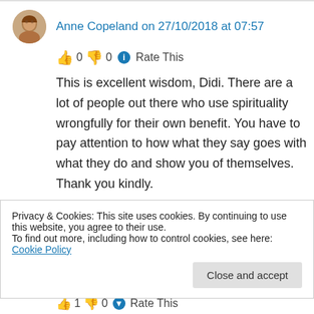Anne Copeland on 27/10/2018 at 07:57
👍 0 👎 0 ℹ Rate This
This is excellent wisdom, Didi. There are a lot of people out there who use spirituality wrongfully for their own benefit. You have to pay attention to how what they say goes with what they do and show you of themselves. Thank you kindly.
★ Liked by 3 people
Privacy & Cookies: This site uses cookies. By continuing to use this website, you agree to their use.
To find out more, including how to control cookies, see here: Cookie Policy
Close and accept
👍 1 👎 0 💙 Rate This